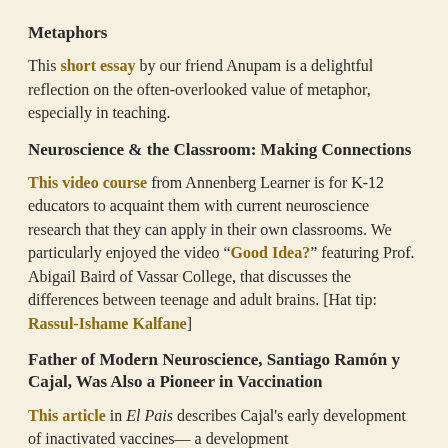Metaphors
This short essay by our friend Anupam is a delightful reflection on the often-overlooked value of metaphor, especially in teaching.
Neuroscience & the Classroom: Making Connections
This video course from Annenberg Learner is for K-12 educators to acquaint them with current neuroscience research that they can apply in their own classrooms. We particularly enjoyed the video “Good Idea?” featuring Prof. Abigail Baird of Vassar College, that discusses the differences between teenage and adult brains. [Hat tip: Rassul-Ishame Kalfane]
Father of Modern Neuroscience, Santiago Ramón y Cajal, Was Also a Pioneer in Vaccination
This article in El Pais describes Cajal's early development of inactivated vaccines—a development